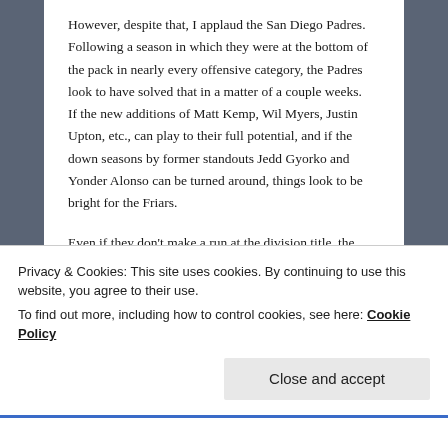However, despite that, I applaud the San Diego Padres. Following a season in which they were at the bottom of the pack in nearly every offensive category, the Padres look to have solved that in a matter of a couple weeks. If the new additions of Matt Kemp, Wil Myers, Justin Upton, etc., can play to their full potential, and if the down seasons by former standouts Jedd Gyorko and Yonder Alonso can be turned around, things look to be bright for the Friars.
Even if they don't make a run at the division title, the Padres are in line to compete for at least the second Wild Card spot in 2015. Having not made the postseason since
Privacy & Cookies: This site uses cookies. By continuing to use this website, you agree to their use.
To find out more, including how to control cookies, see here: Cookie Policy
Close and accept